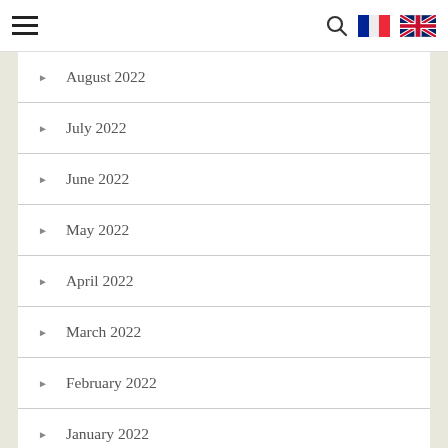Navigation bar with hamburger menu, search icon, French flag, UK flag
August 2022
July 2022
June 2022
May 2022
April 2022
March 2022
February 2022
January 2022
December 2021